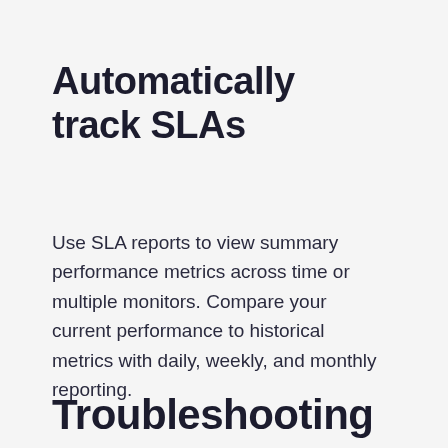Automatically track SLAs
Use SLA reports to view summary performance metrics across time or multiple monitors. Compare your current performance to historical metrics with daily, weekly, and monthly reporting.
Troubleshooting